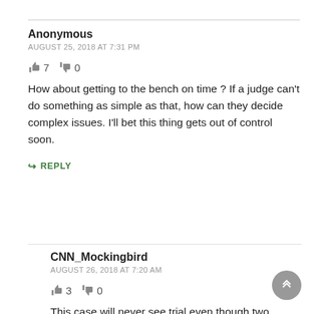Anonymous
AUGUST 25, 2018 AT 7:31 PM
👍 7  👎 0
How about getting to the bench on time ? If a judge can't do something as simple as that, how can they decide complex issues. I'll bet this thing gets out of control soon.
↪ REPLY
CNN_Mockingbird
AUGUST 26, 2018 AT 7:20 AM
👍 3  👎 0
This case will never see trial even though two